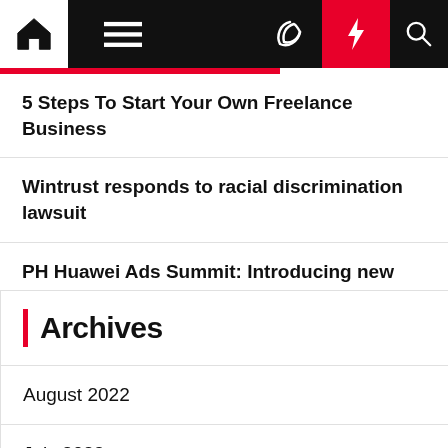Navigation bar with home, menu, moon, bolt, search icons
5 Steps To Start Your Own Freelance Business
Wintrust responds to racial discrimination lawsuit
PH Huawei Ads Summit: Introducing new marketing resource to leverage on
Archives
August 2022
July 2022
June 2022